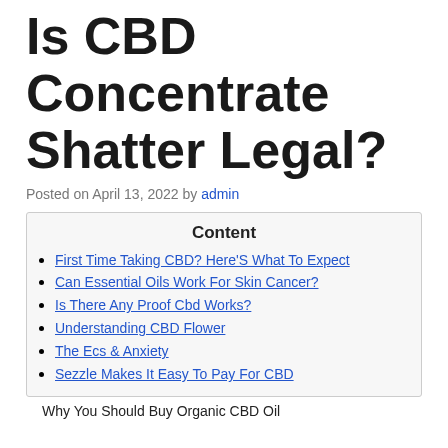Is CBD Concentrate Shatter Legal?
Posted on April 13, 2022 by admin
Content
First Time Taking CBD? Here'S What To Expect
Can Essential Oils Work For Skin Cancer?
Is There Any Proof Cbd Works?
Understanding CBD Flower
The Ecs & Anxiety
Sezzle Makes It Easy To Pay For CBD
Why You Should Buy Organic CBD Oil